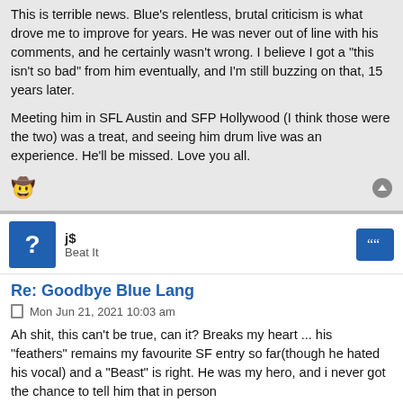This is terrible news. Blue's relentless, brutal criticism is what drove me to improve for years. He was never out of line with his comments, and he certainly wasn't wrong. I believe I got a "this isn't so bad" from him eventually, and I'm still buzzing on that, 15 years later.
Meeting him in SFL Austin and SFP Hollywood (I think those were the two) was a treat, and seeing him drum live was an experience. He'll be missed. Love you all.
js
Beat It
Re: Goodbye Blue Lang
Mon Jun 21, 2021 10:03 am
Ah shit, this can't be true, can it? Breaks my heart ... his "feathers" remains my favourite SF entry so far(though he hated his vocal) and a "Beast" is right. He was my hero, and i never got the chance to tell him that in person
j$
Last edited by j$ on Mon Jun 21, 2021 10:31 am, edited 1 time in total.